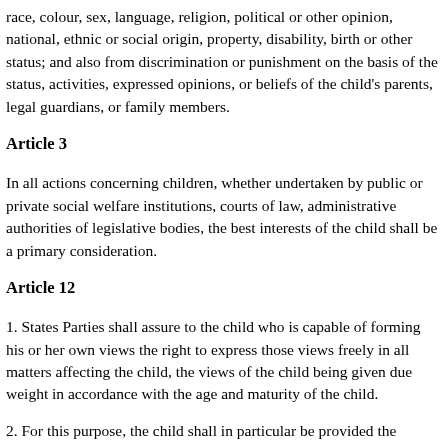race, colour, sex, language, religion, political or other opinion, national, ethnic or social origin, property, disability, birth or other status; and also from discrimination or punishment on the basis of the status, activities, expressed opinions, or beliefs of the child's parents, legal guardians, or family members.
Article 3
In all actions concerning children, whether undertaken by public or private social welfare institutions, courts of law, administrative authorities of legislative bodies, the best interests of the child shall be a primary consideration.
Article 12
1. States Parties shall assure to the child who is capable of forming his or her own views the right to express those views freely in all matters affecting the child, the views of the child being given due weight in accordance with the age and maturity of the child.
2. For this purpose, the child shall in particular be provided the opportunity to be heard in any judicial and administrative proceedings affecting the child, either directly, or through a representative or an appropriate body, in a manner consistent with